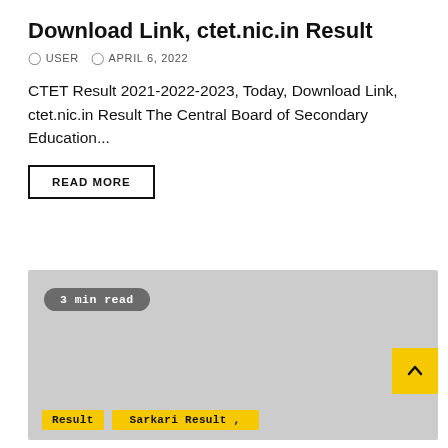Download Link, ctet.nic.in Result
USER   APRIL 6, 2022
CTET Result 2021-2022-2023, Today, Download Link, ctet.nic.in Result The Central Board of Secondary Education...
READ MORE
[Figure (screenshot): Gray placeholder card image with '3 min read' badge at top left, a yellow scroll-up arrow button at bottom right, and yellow tags 'Result' and 'Sarkari Result,' at the bottom.]